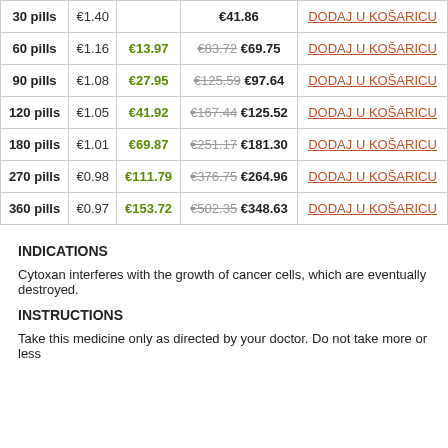| Quantity | Per Pill | Savings | Price |  |
| --- | --- | --- | --- | --- |
| 30 pills | €1.40 |  | €41.86 | DODAJ U KOŠARICU |
| 60 pills | €1.16 | €13.97 | €83.72 €69.75 | DODAJ U KOŠARICU |
| 90 pills | €1.08 | €27.95 | €125.59 €97.64 | DODAJ U KOŠARICU |
| 120 pills | €1.05 | €41.92 | €167.44 €125.52 | DODAJ U KOŠARICU |
| 180 pills | €1.01 | €69.87 | €251.17 €181.30 | DODAJ U KOŠARICU |
| 270 pills | €0.98 | €111.79 | €376.75 €264.96 | DODAJ U KOŠARICU |
| 360 pills | €0.97 | €153.72 | €502.35 €348.63 | DODAJ U KOŠARICU |
INDICATIONS
Cytoxan interferes with the growth of cancer cells, which are eventually destroyed.
INSTRUCTIONS
Take this medicine only as directed by your doctor. Do not take more or less